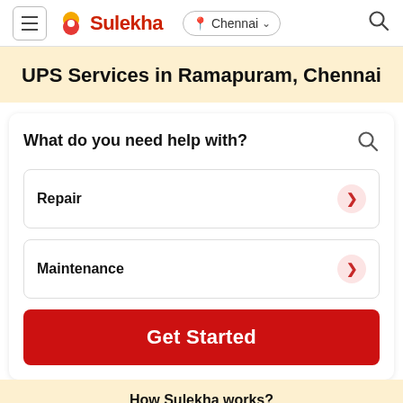Sulekha — Chennai
UPS Services in Ramapuram, Chennai
What do you need help with?
Repair
Maintenance
Get Started
How Sulekha works?
1 Share your
2 Get Multiple
3 Compare, Hire & Get